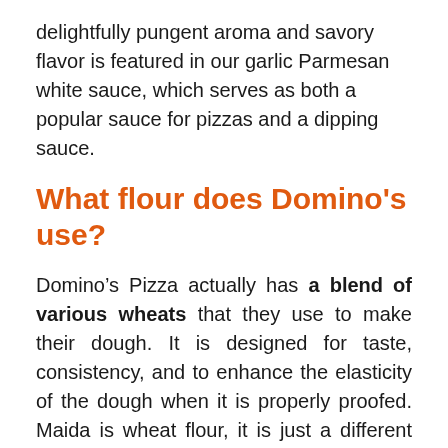delightfully pungent aroma and savory flavor is featured in our garlic Parmesan white sauce, which serves as both a popular sauce for pizzas and a dipping sauce.
What flour does Domino's use?
Domino's Pizza actually has a blend of various wheats that they use to make their dough. It is designed for taste, consistency, and to enhance the elasticity of the dough when it is properly proofed. Maida is wheat flour, it is just a different type, more akin to what would be considered cake flour in the US.